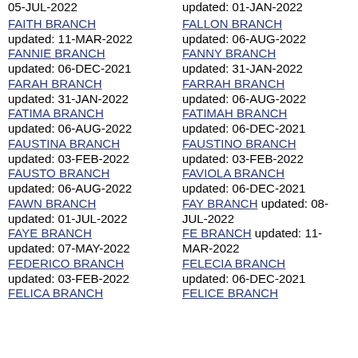FAITH BRANCH updated: 11-MAR-2022
FANNIE BRANCH updated: 06-DEC-2021
FARAH BRANCH updated: 31-JAN-2022
FATIMA BRANCH updated: 06-AUG-2022
FAUSTINA BRANCH updated: 03-FEB-2022
FAUSTO BRANCH updated: 06-AUG-2022
FAWN BRANCH updated: 01-JUL-2022
FAYE BRANCH updated: 07-MAY-2022
FEDERICO BRANCH updated: 03-FEB-2022
FELICA BRANCH
FALLON BRANCH updated: 06-AUG-2022
FANNY BRANCH updated: 31-JAN-2022
FARRAH BRANCH updated: 06-AUG-2022
FATIMAH BRANCH updated: 06-DEC-2021
FAUSTINO BRANCH updated: 03-FEB-2022
FAVIOLA BRANCH updated: 06-DEC-2021
FAY BRANCH updated: 08-JUL-2022
FE BRANCH updated: 11-MAR-2022
FELECIA BRANCH updated: 06-DEC-2021
FELICE BRANCH